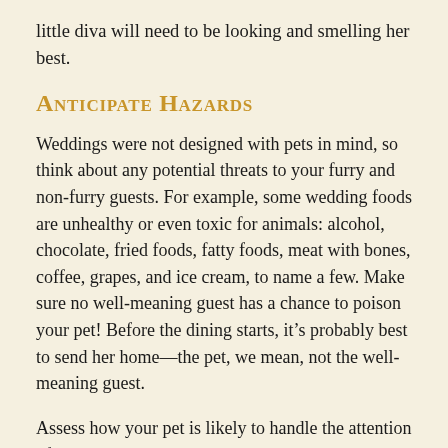little diva will need to be looking and smelling her best.
Anticipate Hazards
Weddings were not designed with pets in mind, so think about any potential threats to your furry and non-furry guests. For example, some wedding foods are unhealthy or even toxic for animals: alcohol, chocolate, fried foods, fatty foods, meat with bones, coffee, grapes, and ice cream, to name a few. Make sure no well-meaning guest has a chance to poison your pet! Before the dining starts, it’s probably best to send her home—the pet, we mean, not the well-meaning guest.
Assess how your pet is likely to handle the attention of rambunctious children and adoring guests. Even animals who love to be petted may have their limits.